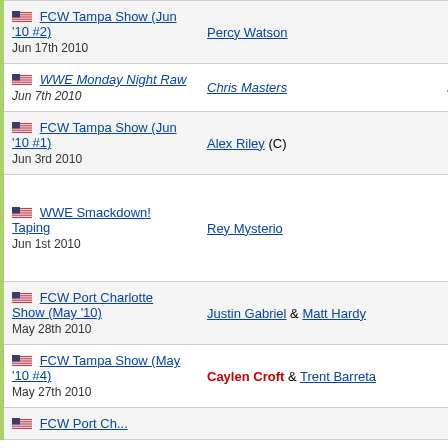| Event | Opponent | Result |
| --- | --- | --- |
| FCW Tampa Show (Jun '10 #2)
Jun 17th 2010 | Percy Watson | Def. |
| WWE Monday Night Raw
Jun 7th 2010 | Chris Masters | Def. |
| FCW Tampa Show (Jun '10 #1)
Jun 3rd 2010 | Alex Riley (C) | Def. |
| WWE Smackdown! Taping
Jun 1st 2010 | Rey Mysterio | Def. |
| FCW Port Charlotte Show (May '10)
May 28th 2010 | Justin Gabriel & Matt Hardy | Def. |
| FCW Tampa Show (May '10 #4)
May 27th 2010 | Caylen Croft & Trent Barreta | Def. |
| FCW Port Charlotte Show... |  |  |